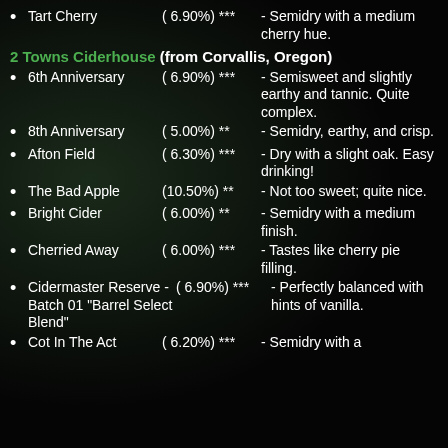Tart Cherry ( 6.90%) *** - Semidry with a medium cherry hue.
2 Towns Ciderhouse (from Corvallis, Oregon)
6th Anniversary ( 6.90%) *** - Semisweet and slightly earthy and tannic. Quite complex.
8th Anniversary ( 5.00%) ** - Semidry, earthy, and crisp.
Afton Field ( 6.30%) *** - Dry with a slight oak. Easy drinking!
The Bad Apple (10.50%) ** - Not too sweet; quite nice.
Bright Cider ( 6.00%) ** - Semidry with a medium finish.
Cherried Away ( 6.00%) *** - Tastes like cherry pie filling.
Cidermaster Reserve - Batch 01 "Barrel Select Blend" ( 6.90%) *** - Perfectly balanced with hints of vanilla.
Cot In The Act ( 6.20%) *** - Semidry with a